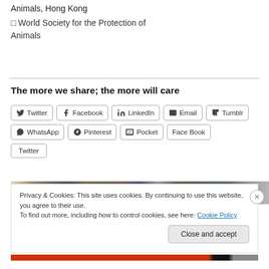Animals, Hong Kong
□ World Society for the Protection of Animals
The more we share; the more will care
Twitter | Facebook | LinkedIn | Email | Tumblr | WhatsApp | Pinterest | Pocket | Face Book | Twitter
Privacy & Cookies: This site uses cookies. By continuing to use this website, you agree to their use.
To find out more, including how to control cookies, see here: Cookie Policy
Close and accept